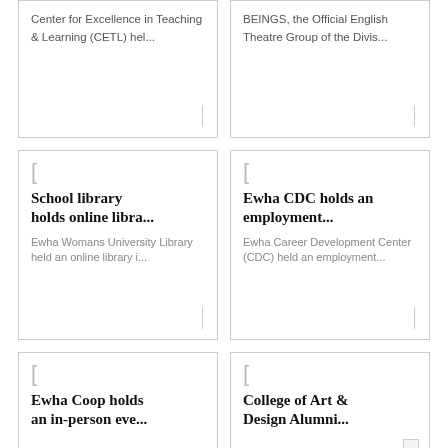Center for Excellence in Teaching & Learning (CETL) hel...
BEINGS, the Official English Theatre Group of the Divis...
School library holds online libra...
Ewha Womans University Library held an online library i...
Ewha CDC holds an employment...
Ewha Career Development Center (CDC) held an employment...
Ewha Coop holds an in-person eve...
College of Art & Design Alumni...